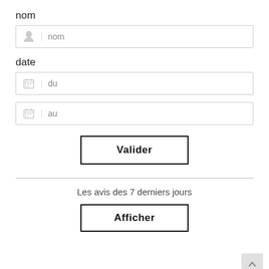nom
[Figure (screenshot): Text input field with user icon and placeholder text 'nom']
date
[Figure (screenshot): Date input field with calendar icon and placeholder text 'du']
[Figure (screenshot): Date input field with calendar icon and placeholder text 'au']
[Figure (screenshot): Button labeled 'Valider' with black border]
Les avis des 7 derniers jours
[Figure (screenshot): Button labeled 'Afficher' with black border]